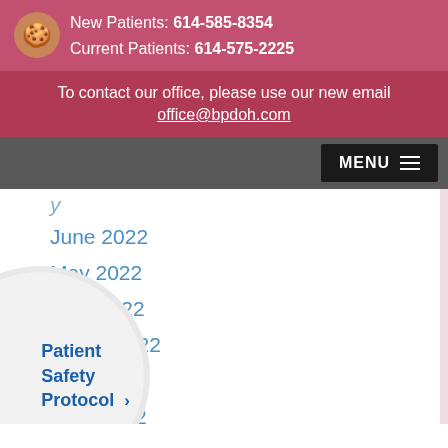New Patients: 614-585-8354
Current Patients: 614-575-2225
To contact our office, please use our new email
office@bpdoh.com
MENU
June 2022
May 2022
April 2022
March 2022
...uary 2022
...2022
...r 2021
...er 2021
Patient Safety Protocol ›